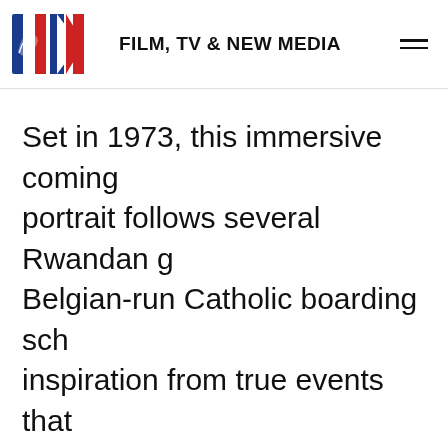FILM, TV & NEW MEDIA
Set in 1973, this immersive coming portrait follows several Rwandan g Belgian-run Catholic boarding sch inspiration from true events that foreshadowed the 1994 genocide Rwandan Civil War. Many of the gi elite families while others hold les